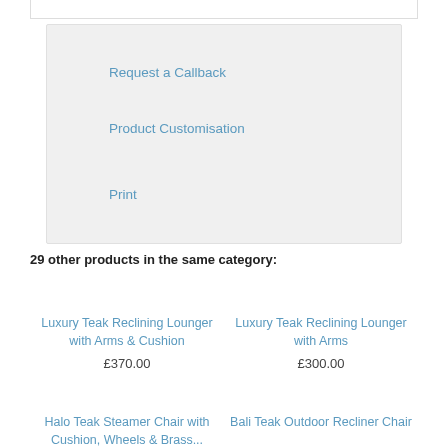Request a Callback
Product Customisation
Print
29 other products in the same category:
Luxury Teak Reclining Lounger with Arms & Cushion
£370.00
Luxury Teak Reclining Lounger with Arms
£300.00
Halo Teak Steamer Chair with Cushion, Wheels & Brass...
Bali Teak Outdoor Recliner Chair